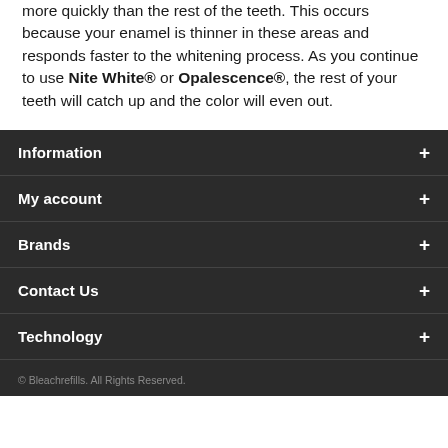more quickly than the rest of the teeth. This occurs because your enamel is thinner in these areas and responds faster to the whitening process. As you continue to use Nite White® or Opalescence®, the rest of your teeth will catch up and the color will even out.
Information +
My account +
Brands +
Contact Us +
Technology +
© Bleachrefills. All Rights Reserved.